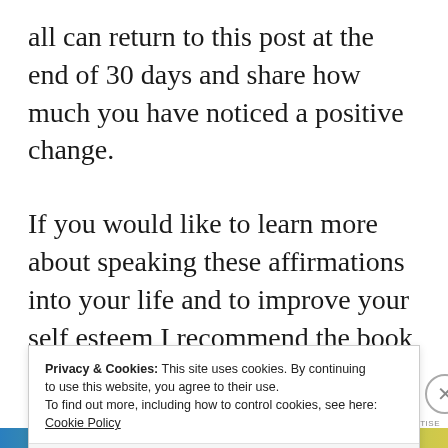all can return to this post at the end of 30 days and share how much you have noticed a positive change.
If you would like to learn more about speaking these affirmations into your life and to improve your self esteem I recommend the book Mirror Work by the late Louise Hay.  Louise knew about reprogramming our neuro pathways before it
Privacy & Cookies: This site uses cookies. By continuing to use this website, you agree to their use. To find out more, including how to control cookies, see here: Cookie Policy
Close and accept